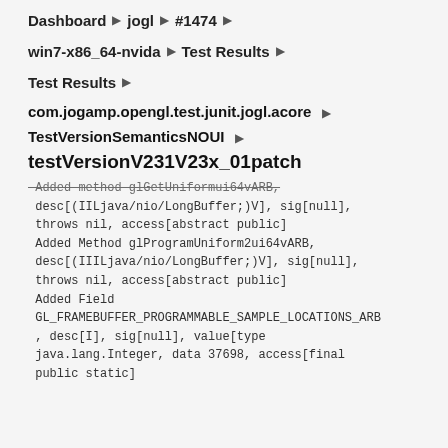Dashboard ▶ jogl ▶ #1474 ▶
win7-x86_64-nvida ▶ Test Results ▶
Test Results ▶
com.jogamp.opengl.test.junit.jogl.acore ▶
TestVersionSemanticsNOUI ▶
testVersionV231V23x_01patch
Added method glGetUniformui64vARB, desc[(IILjava/nio/LongBuffer;)V], sig[null], throws nil, access[abstract public] Added Method glProgramUniform2ui64vARB, desc[(IIILjava/nio/LongBuffer;)V], sig[null], throws nil, access[abstract public] Added Field GL_FRAMEBUFFER_PROGRAMMABLE_SAMPLE_LOCATIONS_ARB, desc[I], sig[null], value[type java.lang.Integer, data 37698, access[final public static]